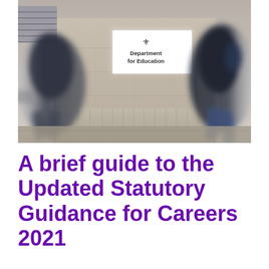[Figure (photo): Blurred motion photo of people walking past a building with a 'Department for Education' sign on the wall. The sign features the UK government royal coat of arms logo.]
A brief guide to the Updated Statutory Guidance for Careers 2021